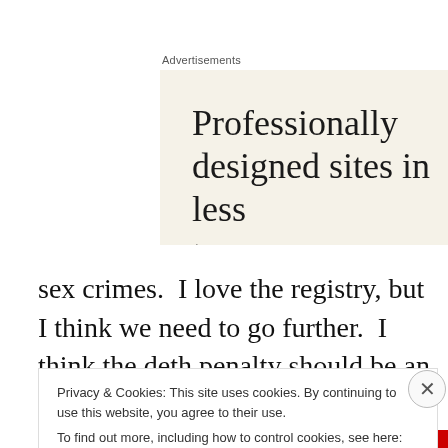Advertisements
[Figure (screenshot): Advertisement banner with cream/beige background showing partial text: 'Professionally designed sites in less th...']
sex crimes.  I love the registry, but I think we need to go further.  I think the deth penalty should be an option on the second offense, and no less than 20 years in prison on the
Privacy & Cookies: This site uses cookies. By continuing to use this website, you agree to their use.
To find out more, including how to control cookies, see here: Cookie Policy
Close and accept